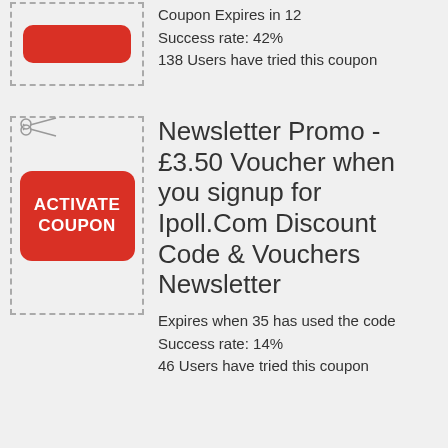[Figure (illustration): Red rounded rectangle button (coupon activation button) inside a dashed border box]
Coupon Expires in 12
Success rate: 42%
138 Users have tried this coupon
[Figure (illustration): Red rounded rectangle button with white bold text ACTIVATE COUPON inside a dashed border box with scissors icon at top-left]
Newsletter Promo - £3.50 Voucher when you signup for Ipoll.Com Discount Code & Vouchers Newsletter
Expires when 35 has used the code
Success rate: 14%
46 Users have tried this coupon